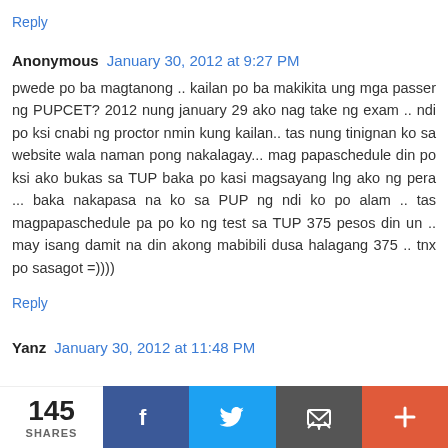Reply
Anonymous January 30, 2012 at 9:27 PM
pwede po ba magtanong .. kailan po ba makikita ung mga passer ng PUPCET? 2012 nung january 29 ako nag take ng exam .. ndi po ksi cnabi ng proctor nmin kung kailan.. tas nung tinignan ko sa website wala naman pong nakalagay... mag papaschedule din po ksi ako bukas sa TUP baka po kasi magsayang lng ako ng pera ... baka nakapasa na ko sa PUP ng ndi ko po alam .. tas magpapaschedule pa po ko ng test sa TUP 375 pesos din un .. may isang damit na din akong mabibili dusa halagang 375 .. tnx po sasagot =))))
Reply
Yanz January 30, 2012 at 11:48 PM
...
145 SHARES